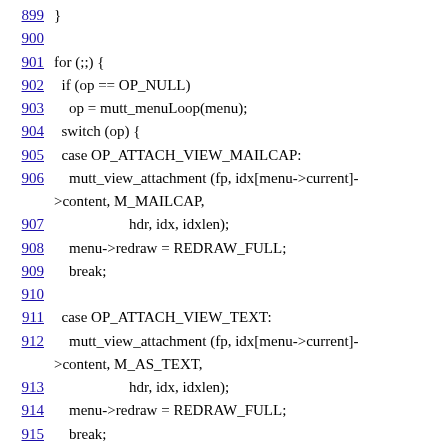Source code listing, lines 899-920+
899    }
900
901    for (;;) {
902      if (op == OP_NULL)
903        op = mutt_menuLoop(menu);
904      switch (op) {
905      case OP_ATTACH_VIEW_MAILCAP:
906        mutt_view_attachment (fp, idx[menu->current]->content, M_MAILCAP,
907                              hdr, idx, idxlen);
908        menu->redraw = REDRAW_FULL;
909        break;
910
911      case OP_ATTACH_VIEW_TEXT:
912        mutt_view_attachment (fp, idx[menu->current]->content, M_AS_TEXT,
913                              hdr, idx, idxlen);
914        menu->redraw = REDRAW_FULL;
915        break;
916
917      case OP_DISPLAY_HEADERS:
918      case OP_VIEW_ATTACH:
919        op =
920
mutt_attach_display_loop (menu, op, fp, hdr, cur, &idx, &idxle...